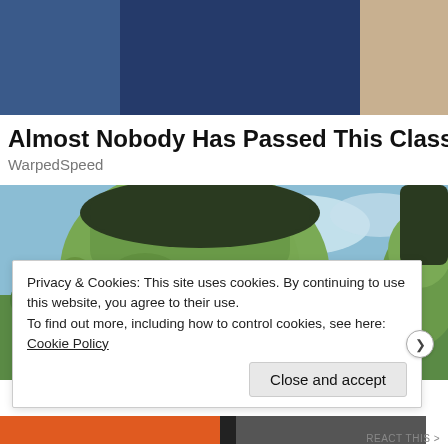[Figure (photo): Partial top image showing two figures against a light background, cropped at top]
Almost Nobody Has Passed This Classic Logo Quiz
WarpedSpeed
[Figure (photo): Photo of a green-skinned Hulk-like character outdoors with blue sky and green trees in background, another figure partially visible on right]
Privacy & Cookies: This site uses cookies. By continuing to use this website, you agree to their use.
To find out more, including how to control cookies, see here: Cookie Policy
Close and accept